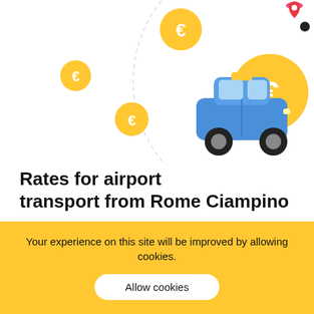[Figure (illustration): Illustration of a blue taxi car with euro coin icons floating around it on a light background with a dashed circle arc. A red location pin and black dot appear in the top right corner.]
Rates for airport transport from Rome Ciampino
There are a lot of companies offering transfer services in Italy and it is quit difficult to compare all
Your experience on this site will be improved by allowing cookies.
Allow cookies